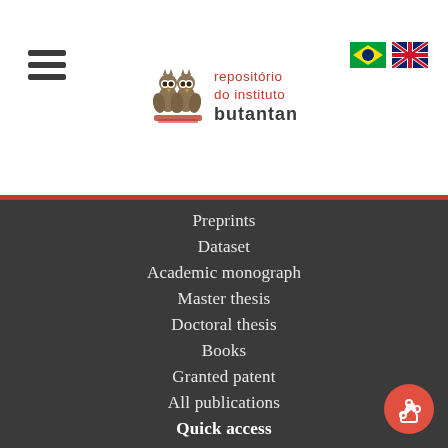[Figure (logo): Sapientia - Repositório do Instituto Butantan logo with two owls]
Preprints
Dataset
Academic monograph
Master thesis
Doctoral thesis
Books
Granted patent
All publications
Quick access
Authors from Butantan
Units from Butantan authors
Institutions from external authors
Journal titles